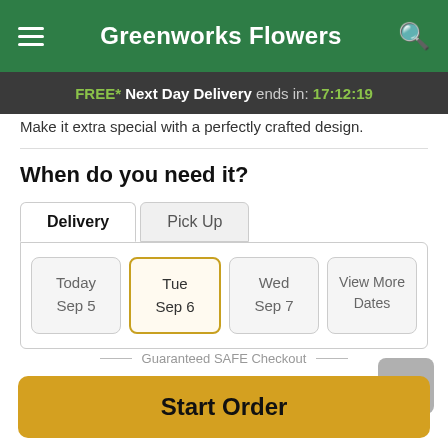Greenworks Flowers
FREE* Next Day Delivery ends in: 17:12:19
Make it extra special with a perfectly crafted design.
When do you need it?
Delivery | Pick Up
Today Sep 5 | Tue Sep 6 | Wed Sep 7 | View More Dates
Guaranteed SAFE Checkout
Start Order